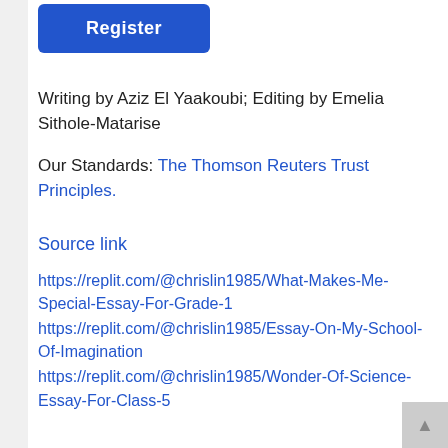[Figure (other): Register button – blue rounded rectangle with white bold text 'Register']
Writing by Aziz El Yaakoubi; Editing by Emelia Sithole-Matarise
Our Standards: The Thomson Reuters Trust Principles.
Source link
https://replit.com/@chrislin1985/What-Makes-Me-Special-Essay-For-Grade-1
https://replit.com/@chrislin1985/Essay-On-My-School-Of-Imagination
https://replit.com/@chrislin1985/Wonder-Of-Science-Essay-For-Class-5